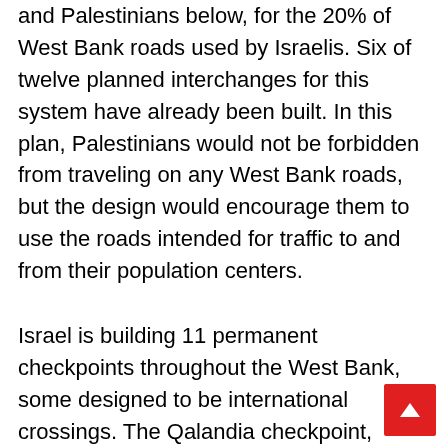and Palestinians below, for the 20% of West Bank roads used by Israelis. Six of twelve planned interchanges for this system have already been built. In this plan, Palestinians would not be forbidden from traveling on any West Bank roads, but the design would encourage them to use the roads intended for traffic to and from their population centers.
Israel is building 11 permanent checkpoints throughout the West Bank, some designed to be international crossings. The Qalandia checkpoint, which separates Ramallah from East Jerusalem, sports a sign written in Hebrew, Arabic and English, reading "The Hope of Us All," with a picture of a flower. A group of Jewish anti-occupation activists spray-